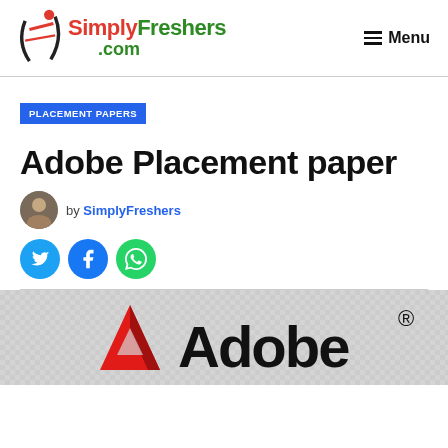SimplyFreshers.com  ☰ Menu
PLACEMENT PAPERS
Adobe Placement paper
by SimplyFreshers
[Figure (logo): SimplyFreshers.com logo with stylized figure icon, Simply in red, Freshers in green, .com in green]
[Figure (logo): Adobe logo - red A triangle and Adobe text on checkered background]